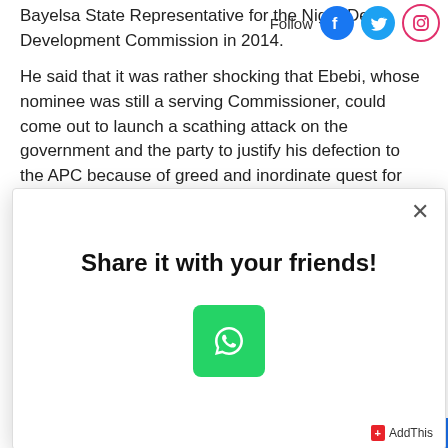Bayelsa State Representative for the Niger Delta Development Commission in 2014.
[Figure (infographic): Follow label with Facebook, Twitter, and Instagram social media icon buttons]
He said that it was rather shocking that Ebebi, whose nominee was still a serving Commissioner, could come out to launch a scathing attack on the government and the party to justify his defection to the APC because of greed and inordinate quest for political offices.
[Figure (infographic): Share it with your friends! modal popup with WhatsApp share button and AddThis branding]
(partial bottom text cut off)